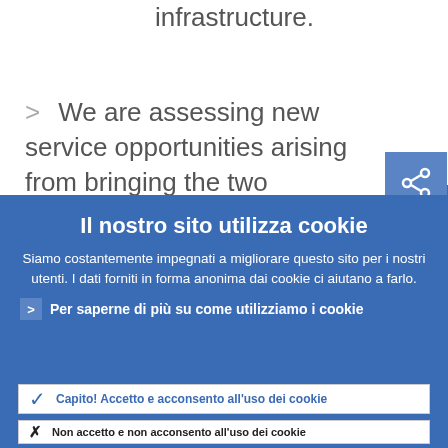infrastructure.
We are assessing new service opportunities arising from bringing the two infrastructures closer together. In particular, we are
[Figure (screenshot): Navigation menu icon (hamburger) and share icon buttons on blue background]
Il nostro sito utilizza cookie
Siamo costantemente impegnati a migliorare questo sito per i nostri utenti. I dati forniti in forma anonima dai cookie ci aiutano a farlo.
Per saperne di più su come utilizziamo i cookie
Capito! Accetto e acconsento all'uso dei cookie
Non accetto e non acconsento all'uso dei cookie